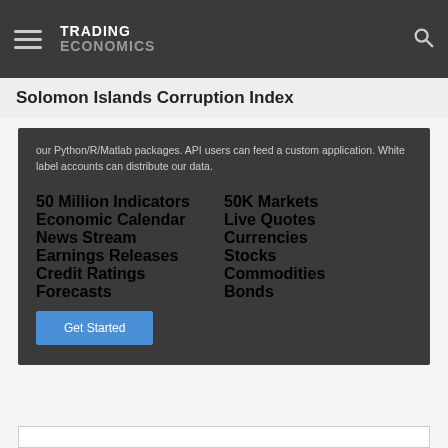TRADING ECONOMICS
Solomon Islands Corruption Index
our Python/R/Matlab packages. API users can feed a custom application. White label accounts can distribute our data.
50 Million Indicators
Economic Calendar
News Stream
Earnings Releases
Credit Ratings
Forecasts
50K Markets
Live Quotes
Currencies
Stocks
Commodities
Bonds